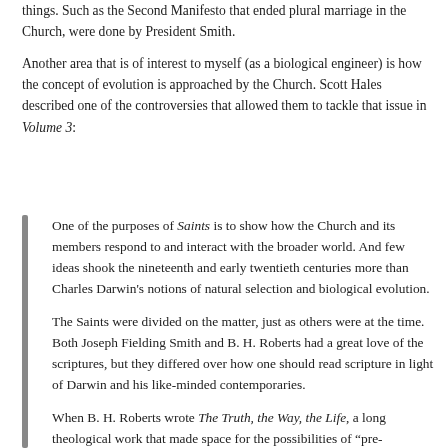things. Such as the Second Manifesto that ended plural marriage in the Church, were done by President Smith.
Another area that is of interest to myself (as a biological engineer) is how the concept of evolution is approached by the Church. Scott Hales described one of the controversies that allowed them to tackle that issue in Volume 3:
One of the purposes of Saints is to show how the Church and its members respond to and interact with the broader world. And few ideas shook the nineteenth and early twentieth centuries more than Charles Darwin's notions of natural selection and biological evolution.
The Saints were divided on the matter, just as others were at the time. Both Joseph Fielding Smith and B. H. Roberts had a great love of the scriptures, but they differed over how one should read scripture in light of Darwin and his like-minded contemporaries.
When B. H. Roberts wrote The Truth, the Way, the Life, a long theological work that made space for the possibilities of "pre-Adamites," or humanoid life before Adam and Eve, Joseph Fielding Smith, a biblical literalist, objected.